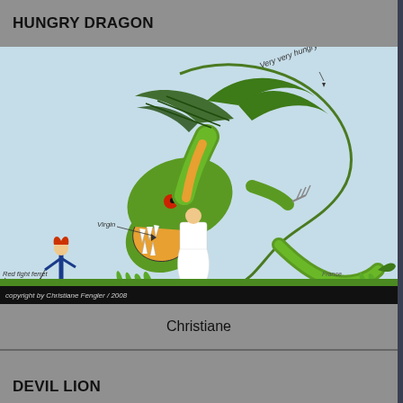HUNGRY DRAGON
[Figure (illustration): Cartoon illustration of a large green dragon looming over a white-dressed figure (virgin) and being approached by a red-haired person with a pet ferret. Labels on image say 'Very very hungry dragon', 'Virgin', 'Red fight ferret'.]
copyright by Christiane Fengler / 2008
Christiane
DEVIL LION
[Figure (illustration): Dark illustration showing a devil lion creature with bare tree branches and dark atmospheric background.]